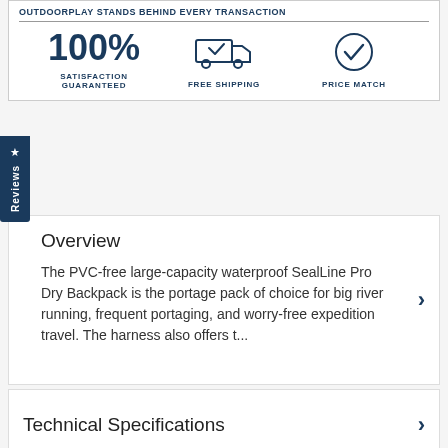OUTDOORPLAY STANDS BEHIND EVERY TRANSACTION
100% SATISFACTION GUARANTEED | FREE SHIPPING | PRICE MATCH
Reviews
Overview
The PVC-free large-capacity waterproof SealLine Pro Dry Backpack is the portage pack of choice for big river running, frequent portaging, and worry-free expedition travel. The harness also offers t...
Technical Specifications